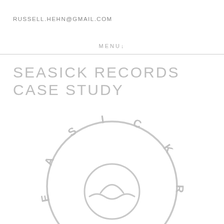RUSSELL.HEHN@GMAIL.COM
MENU↓
SEASICK RECORDS CASE STUDY
[Figure (logo): Seasick Records circular logo in light gray, showing letters S-E-A-S-I-C-K-R arranged in a circle with a sun/horizon illustration in the center]